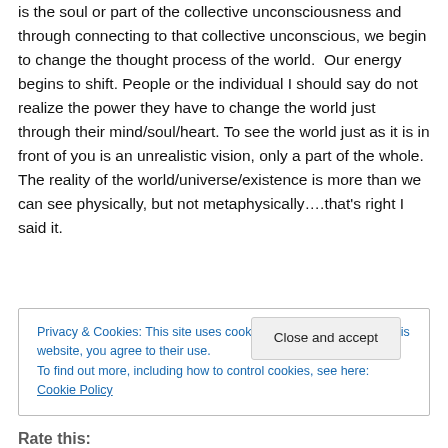is the soul or part of the collective unconsciousness and through connecting to that collective unconscious, we begin to change the thought process of the world.  Our energy begins to shift. People or the individual I should say do not realize the power they have to change the world just through their mind/soul/heart. To see the world just as it is in front of you is an unrealistic vision, only a part of the whole. The reality of the world/universe/existence is more than we can see physically, but not metaphysically….that's right I said it.
Privacy & Cookies: This site uses cookies. By continuing to use this website, you agree to their use.
To find out more, including how to control cookies, see here: Cookie Policy
Close and accept
Rate this: